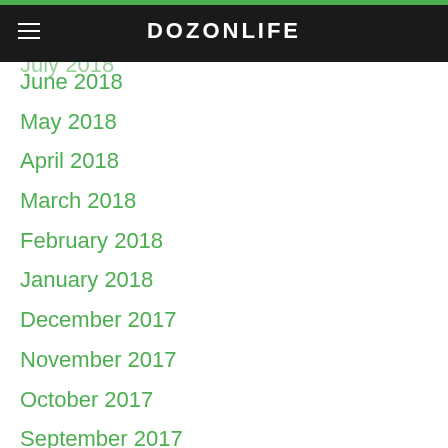DOZONLIFE
August 2018
July 2018
June 2018
May 2018
April 2018
March 2018
February 2018
January 2018
December 2017
November 2017
October 2017
September 2017
August 2017
July 2017
June 2017
May 2017
April 2017
March 2017
February 2017